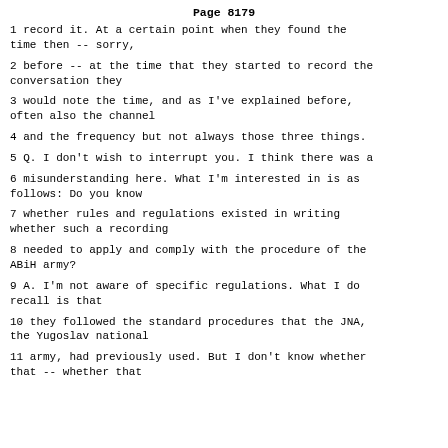Page 8179
1 record it. At a certain point when they found the time then -- sorry,
2 before -- at the time that they started to record the conversation they
3 would note the time, and as I've explained before, often also the channel
4 and the frequency but not always those three things.
5 Q. I don't wish to interrupt you. I think there was a
6 misunderstanding here. What I'm interested in is as follows: Do you know
7 whether rules and regulations existed in writing whether such a recording
8 needed to apply and comply with the procedure of the ABiH army?
9 A. I'm not aware of specific regulations. What I do recall is that
10 they followed the standard procedures that the JNA, the Yugoslav national
11 army, had previously used. But I don't know whether that -- whether that